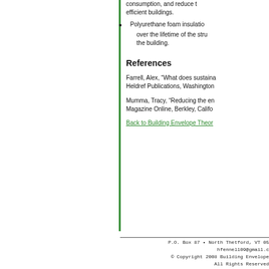consumption, and reduce the energy use in efficient buildings.
Polyurethane foam insulation … over the lifetime of the structure … the building.
References
Farrell, Alex, “What does sustaina…” Heldref Publications, Washington…
Mumma, Tracy, “Reducing the en…” Magazine Online, Berkley, Califo…
Back to Building Envelope Theor…
P.O. Box 87 • North Thetford, VT 05… hfennell09@gmail.c… © Copyright 2008 Building Envelope… All Rights Reserved